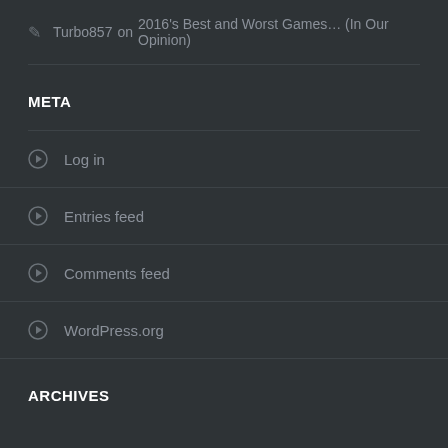Turbo857 on 2016's Best and Worst Games… (In Our Opinion)
META
Log in
Entries feed
Comments feed
WordPress.org
ARCHIVES